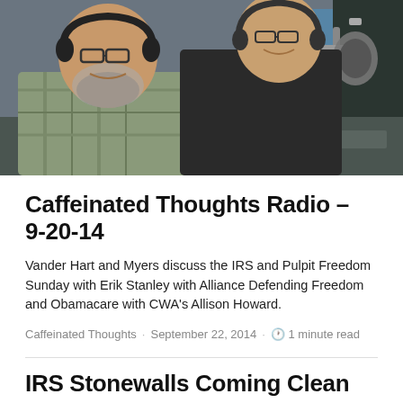[Figure (photo): Two men sitting in a radio studio with headphones and microphones. The man on the left has a beard and glasses wearing a plaid shirt; the man on the right is taller, wearing a dark polo shirt, both smiling at the camera.]
Caffeinated Thoughts Radio – 9-20-14
Vander Hart and Myers discuss the IRS and Pulpit Freedom Sunday with Erik Stanley with Alliance Defending Freedom and Obamacare with CWA's Allison Howard.
Caffeinated Thoughts · September 22, 2014 · 🕐 1 minute read
IRS Stonewalls Coming Clean